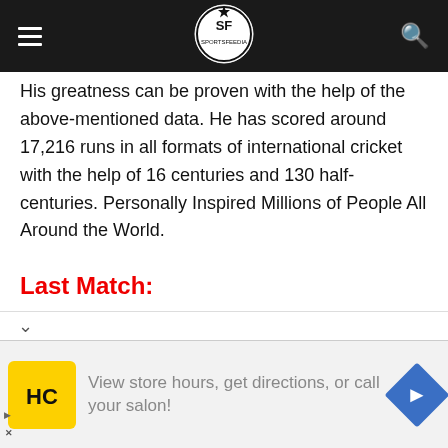[Figure (logo): Website navigation bar with hamburger menu, circular logo with SF initials, and search icon on dark background]
His greatness can be proven with the help of the above-mentioned data. He has scored around 17,216 runs in all formats of international cricket with the help of 16 centuries and 130 half-centuries. Personally Inspired Millions of People All Around the World.
Last Match:
Last ODI: 9 July 2019 v New Zealand
Last Test: vs Australia at Melbourne Cricket Ground, Dec 26,
[Figure (other): Advertisement banner: HC logo in yellow square, text 'View store hours, get directions, or call your salon!' with blue diamond direction arrow]